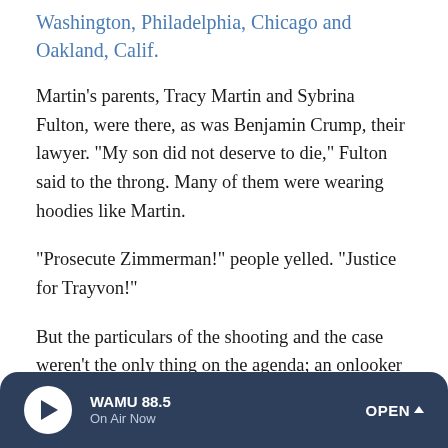Washington, Philadelphia, Chicago and Oakland, Calif.
Martin's parents, Tracy Martin and Sybrina Fulton, were there, as was Benjamin Crump, their lawyer. "My son did not deserve to die," Fulton said to the throng. Many of them were wearing hoodies like Martin.
"Prosecute Zimmerman!" people yelled. "Justice for Trayvon!"
But the particulars of the shooting and the case weren't the only thing on the agenda; an onlooker could be been forgiven if she'd thought the rally was about racial profiling by the New York Police Department.
WAMU 88.5 On Air Now OPEN